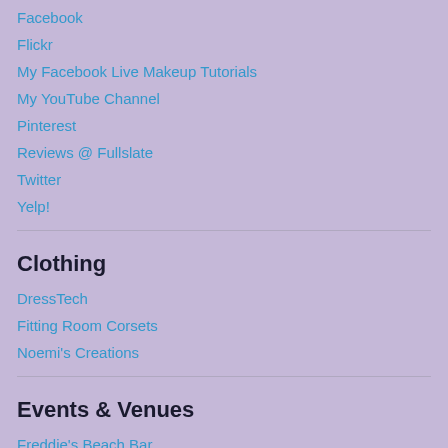Facebook
Flickr
My Facebook Live Makeup Tutorials
My YouTube Channel
Pinterest
Reviews @ Fullslate
Twitter
Yelp!
Clothing
DressTech
Fitting Room Corsets
Noemi's Creations
Events & Venues
Freddie's Beach Bar